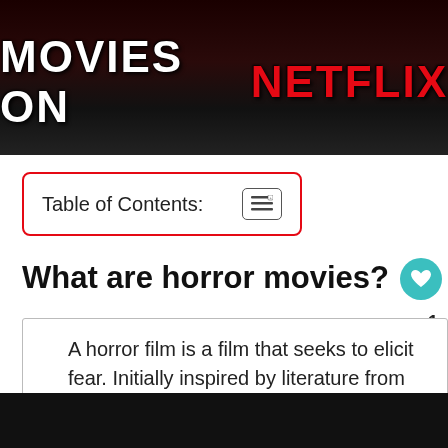[Figure (illustration): Dark banner image with horror-themed dripping text reading MOVIES ON NETFLIX, where MOVIES ON is in white and NETFLIX is in red, on a dark/black background]
Table of Contents:
What are horror movies?
A horror film is a film that seeks to elicit fear. Initially inspired by literature from authors like Edgar Allan Poe, Bram Stoker, and Mary